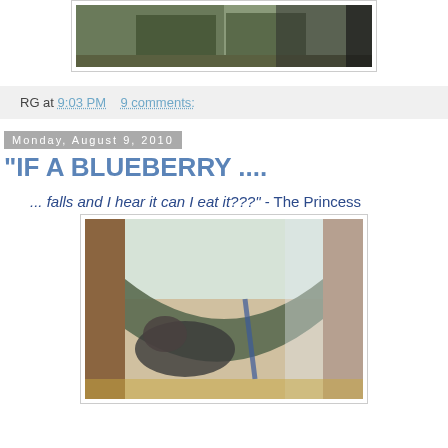[Figure (photo): Outdoor photo showing mossy wooden planks or railroad ties, partially visible at the top of the page]
RG at 9:03 PM   9 comments:
Monday, August 9, 2010
"IF A BLUEBERRY ....
... falls and I hear it can I eat it???" - The Princess
[Figure (photo): Photo of what appears to be a dog or animal resting near a wooden door or wall, looking out a window]